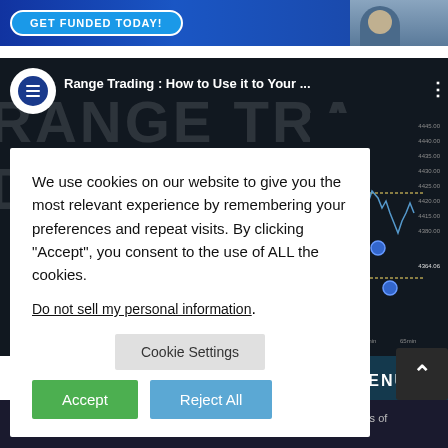[Figure (screenshot): Blue advertisement banner with 'GET FUNDED TODAY!' button]
[Figure (screenshot): YouTube video thumbnail for 'Range Trading: How to Use it to Your...' with trading chart]
We use cookies on our website to give you the most relevant experience by remembering your preferences and repeat visits. By clicking “Accept”, you consent to the use of ALL the cookies.
Do not sell my personal information.
Cookie Settings
Accept
Reject All
MENU
Copyright © 2022 Wall Street Pit | Contact Us | Advertise | Terms of ... Privacy Policy